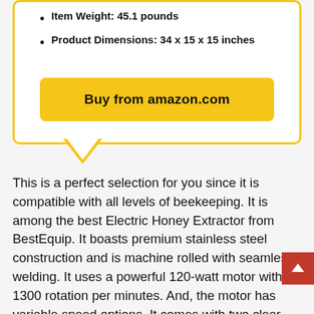Item Weight: 45.1 pounds
Product Dimensions: 34 x 15 x 15 inches
Buy from amazon.com
This is a perfect selection for you since it is compatible with all levels of beekeeping. It is among the best Electric Honey Extractor from BestEquip. It boasts premium stainless steel construction and is machine rolled with seamless welding. It uses a powerful 120-watt motor with 1300 rotation per minutes. And, the motor has variable speed options. It comes with two clear Perspex lids so that you can observe the extraction process easily. The exterior part features a beautiful decoration of polished stainless steel finish.